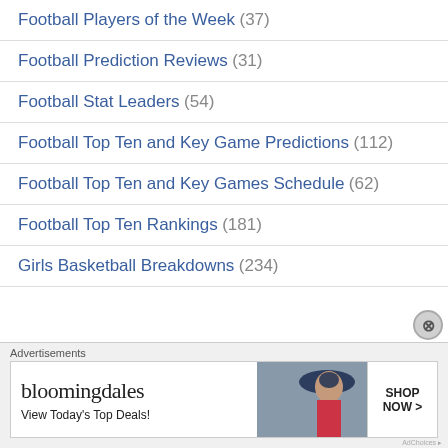Football Players of the Week (37)
Football Prediction Reviews (31)
Football Stat Leaders (54)
Football Top Ten and Key Game Predictions (112)
Football Top Ten and Key Games Schedule (62)
Football Top Ten Rankings (181)
Girls Basketball Breakdowns (234)
Advertisements
[Figure (infographic): Bloomingdale's advertisement banner: 'View Today's Top Deals!' with SHOP NOW > button and woman in hat image]